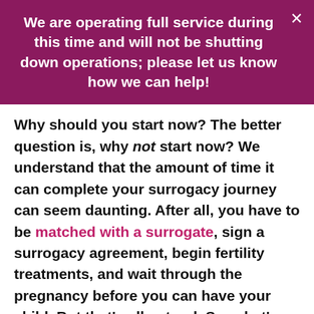We are operating full service during this time and will not be shutting down operations; please let us know how we can help!
Why should you start now? The better question is, why not start now? We understand that the amount of time it can complete your surrogacy journey can seem daunting. After all, you have to be matched with a surrogate, sign a surrogacy agreement, begin fertility treatments, and wait through the pregnancy before you can have your child. But that's all natural. So, what's holding you back? Surrogacy is ready whenever you would like to begin. Don't put your